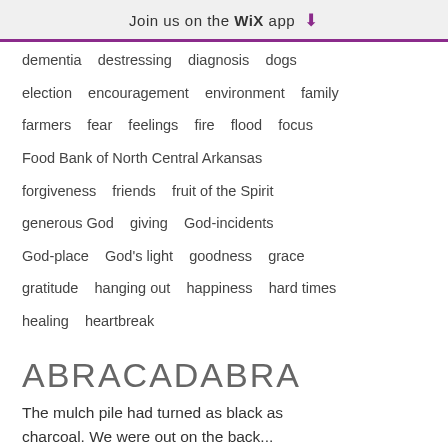Join us on the WiX app ⬇
dementia   destressing   diagnosis   dogs

election   encouragement   environment   family

farmers   fear   feelings   fire   flood   focus

Food Bank of North Central Arkansas

forgiveness   friends   fruit of the Spirit

generous God   giving   God-incidents

God-place   God's light   goodness   grace

gratitude   hanging out   happiness   hard times

healing   heartbreak
ABRACADABRA
The mulch pile had turned as black as charcoal. We were out on the back...